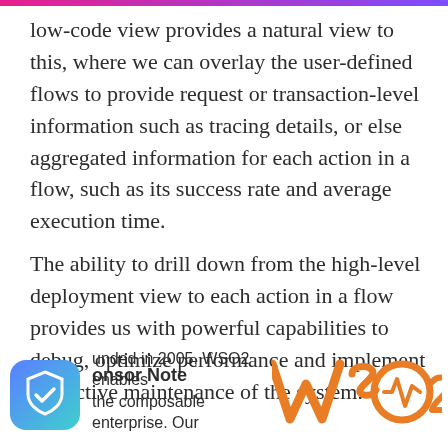low-code view provides a natural view to this, where we can overlay the user-defined flows to provide request or transaction-level information such as tracing details, or else aggregated information for each action in a flow, such as its success rate and average execution time.
The ability to drill down from the high-level deployment view to each action in a flow provides us with powerful capabilities to debug, optimize performance and implement predictive maintenance of the system.
Sponsor Note
Founded in 2005, WSO2 enables the composable enterprise. Our
[Figure (logo): WSO2 logo in orange color]